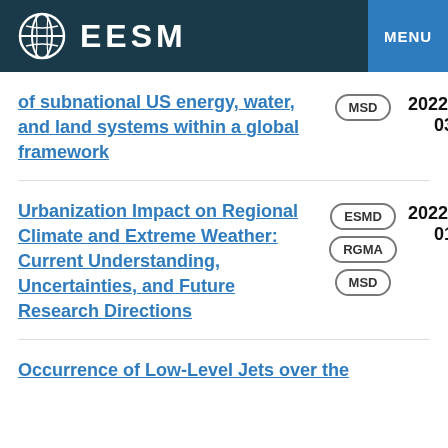EESM  MENU
of subnational US energy, water, and land systems within a global framework  MSD  2022-03
Urbanization Impact on Regional Climate and Extreme Weather: Current Understanding, Uncertainties, and Future Research Directions  ESMD  RGMA  MSD  2022-01
Occurrence of Low-Level Jets over the...